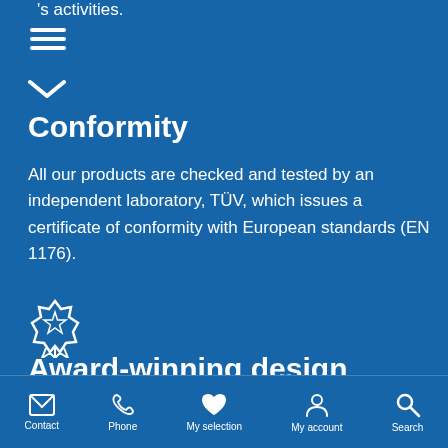's activities.
[Figure (other): Hamburger menu icon (three horizontal white lines)]
[Figure (other): Chevron/down arrow icon in white]
Conformity
All our products are checked and tested by an independent laboratory, TÜV, which issues a certificate of conformity with European standards (EN 1176).
[Figure (other): Award/badge icon with star and ribbon, outline style in white]
Award-winning design
Contact  Phone  My selection  My account  Search